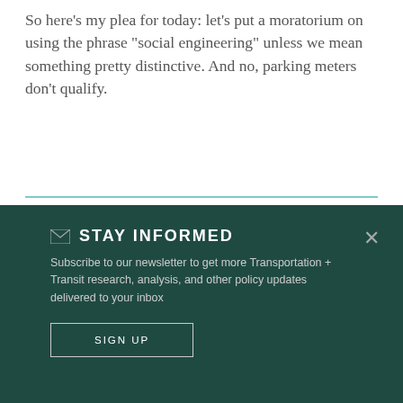So here’s my plea for today: let’s put a moratorium on using the phrase “social engineering” unless we mean something pretty distinctive. And no, parking meters don’t qualify.
✉ STAY INFORMED
Subscribe to our newsletter to get more Transportation + Transit research, analysis, and other policy updates delivered to your inbox
SIGN UP